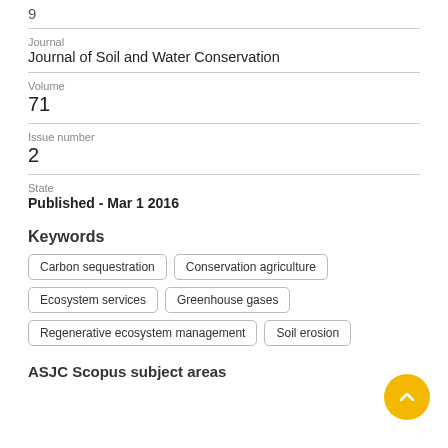9
Journal
Journal of Soil and Water Conservation
Volume
71
Issue number
2
State
Published - Mar 1 2016
Keywords
Carbon sequestration
Conservation agriculture
Ecosystem services
Greenhouse gases
Regenerative ecosystem management
Soil erosion
ASJC Scopus subject areas